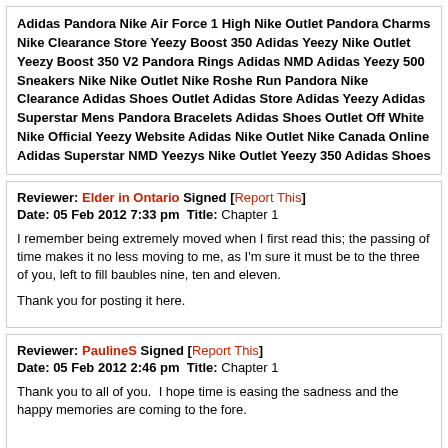Adidas Pandora Nike Air Force 1 High Nike Outlet Pandora Charms Nike Clearance Store Yeezy Boost 350 Adidas Yeezy Nike Outlet Yeezy Boost 350 V2 Pandora Rings Adidas NMD Adidas Yeezy 500 Sneakers Nike Nike Outlet Nike Roshe Run Pandora Nike Clearance Adidas Shoes Outlet Adidas Store Adidas Yeezy Adidas Superstar Mens Pandora Bracelets Adidas Shoes Outlet Off White Nike Official Yeezy Website Adidas Nike Outlet Nike Canada Online Adidas Superstar NMD Yeezys Nike Outlet Yeezy 350 Adidas Shoes
Reviewer: Elder in Ontario Signed [Report This] Date: 05 Feb 2012 7:33 pm Title: Chapter 1

I remember being extremely moved when I first read this; the passing of time makes it no less moving to me, as I'm sure it must be to the three of you, left to fill baubles nine, ten and eleven.

Thank you for posting it here.
Reviewer: PaulineS Signed [Report This] Date: 05 Feb 2012 2:46 pm Title: Chapter 1

Thank you to all of you.  I hope time is easing the sadness and the happy memories are coming to the fore.

Author's Response:

It's getting there very slowly, the memories, mostly good have returned. There are good days and bad days, but more good than bad now xxx